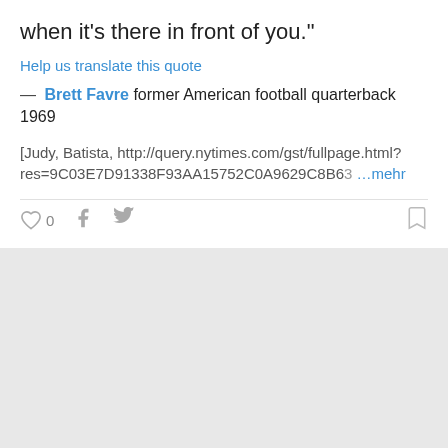when it's there in front of you.”
Help us translate this quote
— Brett Favre former American football quarterback 1969
[Judy, Batista, http://query.nytimes.com/gst/fullpage.html?res=9C03E7D91338F93AA15752C0A9629C8B63 …mehr
0